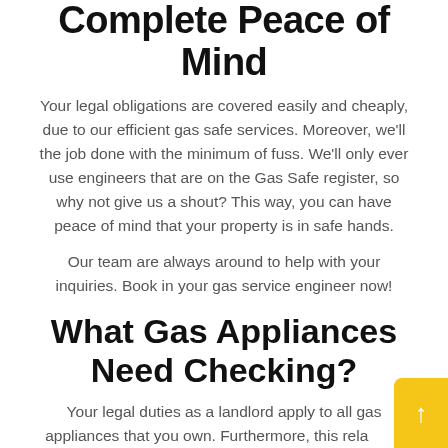Complete Peace of Mind
Your legal obligations are covered easily and cheaply, due to our efficient gas safe services. Moreover, we'll the job done with the minimum of fuss. We'll only ever use engineers that are on the Gas Safe register, so why not give us a shout? This way, you can have peace of mind that your property is in safe hands.
Our team are always around to help with your inquiries. Book in your gas service engineer now!
What Gas Appliances Need Checking?
Your legal duties as a landlord apply to all gas appliances that you own. Furthermore, this rela to appliances the tenants use at your property tenant supplying their own gas appliances? If